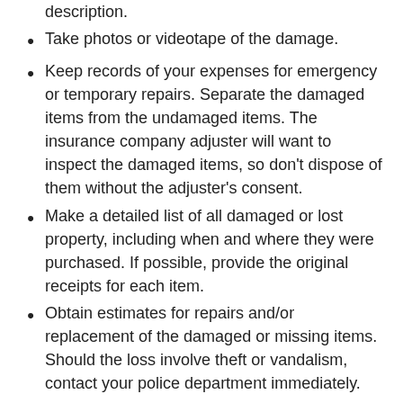description.
Take photos or videotape of the damage.
Keep records of your expenses for emergency or temporary repairs. Separate the damaged items from the undamaged items. The insurance company adjuster will want to inspect the damaged items, so don't dispose of them without the adjuster's consent.
Make a detailed list of all damaged or lost property, including when and where they were purchased. If possible, provide the original receipts for each item.
Obtain estimates for repairs and/or replacement of the damaged or missing items. Should the loss involve theft or vandalism, contact your police department immediately.